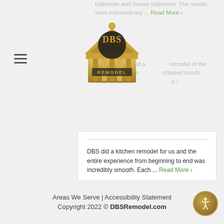[Figure (logo): DBS Remodel gold logo with building/temple design and text DBS REMODEL]
bathroom and master bathroom. The results were extraordinary ... Read More ›
DBS Remodel did a remodel of the master bathroom in our purchased condo. This remodel d... Read More ›
DBS did a kitchen remodel for us and the entire experience from beginning to end was incredibly smooth. Each ... Read More ›
[Figure (logo): Houzz logo: green house icon followed by the word houzz in black]
See All Reviews
Review Me
Areas We Serve | Accessibility Statement
Copyright 2022 © DBSRemodel.com